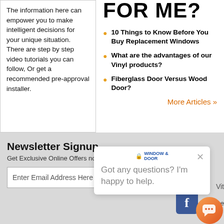The information here can empower you to make intelligent decisions for your unique situation. There are step by step video tutorials you can follow, Or get a recommended pre-approval installer.
FOR ME?
10 Things to Know Before You Buy Replacement Windows
What are the advantages of our Vinyl products?
Fiberglass Door Versus Wood Door?
More Articles »
Newsletter Signup
Get Exclusive Online Offers not available to the public
Enter Email Address Here
Got any questions? I'm happy to help.